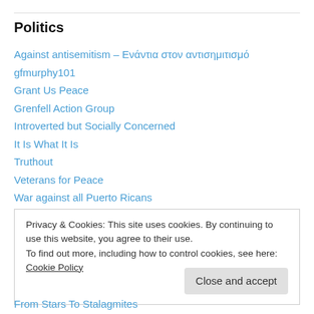Politics
Against antisemitism – Ενάντια στον αντισημιτισμό
gfmurphy101
Grant Us Peace
Grenfell Action Group
Introverted but Socially Concerned
It Is What It Is
Truthout
Veterans for Peace
War against all Puerto Ricans
Womancipation
Privacy & Cookies: This site uses cookies. By continuing to use this website, you agree to their use. To find out more, including how to control cookies, see here: Cookie Policy
From Stars To Stalagmites